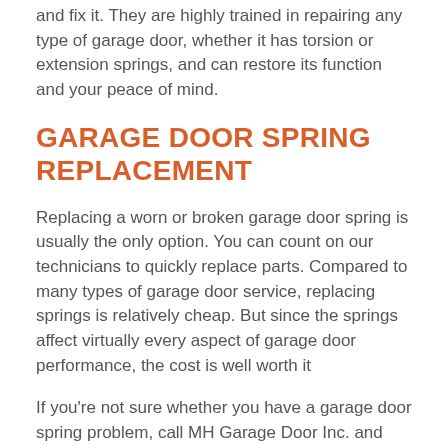and fix it. They are highly trained in repairing any type of garage door, whether it has torsion or extension springs, and can restore its function and your peace of mind.
GARAGE DOOR SPRING REPLACEMENT
Replacing a worn or broken garage door spring is usually the only option. You can count on our technicians to quickly replace parts. Compared to many types of garage door service, replacing springs is relatively cheap. But since the springs affect virtually every aspect of garage door performance, the cost is well worth it
If you're not sure whether you have a garage door spring problem, call MH Garage Door Inc. and we'll send technicians to your home for an inspection. We can replace springs quickly because our trucks